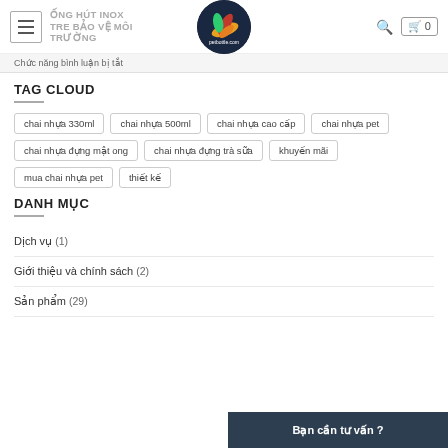ỐNG HÚT INOX TRE BẢO VỆ MÔI TRƯỜNG
Chức năng bình luận bị tắt
TAG CLOUD
chai nhựa 330ml
chai nhựa 500ml
chai nhựa cao cấp
chai nhựa pet
chai nhựa đựng mật ong
chai nhựa đựng trà sữa
khuyến mãi
mua chai nhựa pet
thiết kế
DANH MỤC
Dịch vụ (1)
Giới thiệu và chính sách (2)
Sản phẩm (29)
Bạn cần tư vấn ?